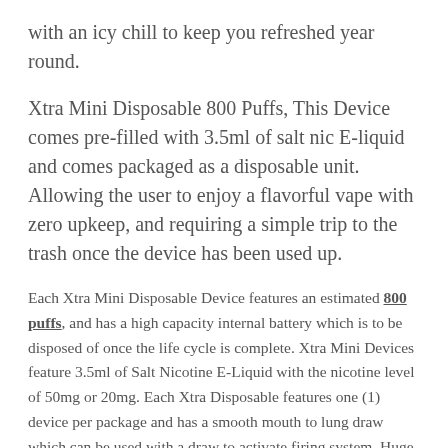with an icy chill to keep you refreshed year round.
Xtra Mini Disposable 800 Puffs, This Device comes pre-filled with 3.5ml of salt nic E-liquid and comes packaged as a disposable unit. Allowing the user to enjoy a flavorful vape with zero upkeep, and requiring a simple trip to the trash once the device has been used up.
Each Xtra Mini Disposable Device features an estimated 800 puffs, and has a high capacity internal battery which is to be disposed of once the life cycle is complete. Xtra Mini Devices feature 3.5ml of Salt Nicotine E-Liquid with the nicotine level of 50mg or 20mg. Each Xtra Disposable features one (1) device per package and has a smooth mouth to lung draw which can be used with a draw to activate firing system. Huge bang for buck in a small package and